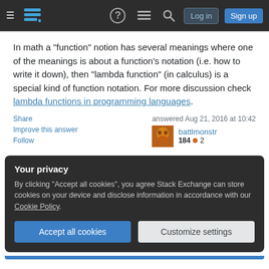[Figure (screenshot): Navigation bar with hamburger menu, Stack Exchange logo, help icon, chat icon, search icon, Log in button, and Sign up button on dark background]
In math a "function" notion has several meanings where one of the meanings is about a function's notation (i.e. how to write it down), then "lambda function" (in calculus) is a special kind of function notation. For more discussion check lambda functions in programming languages.
Share
Improve this answer
Follow
answered Aug 21, 2016 at 10:42
battlmonstr
184 ● 2
Your privacy
By clicking "Accept all cookies", you agree Stack Exchange can store cookies on your device and disclose information in accordance with our Cookie Policy.
Accept all cookies   Customize settings